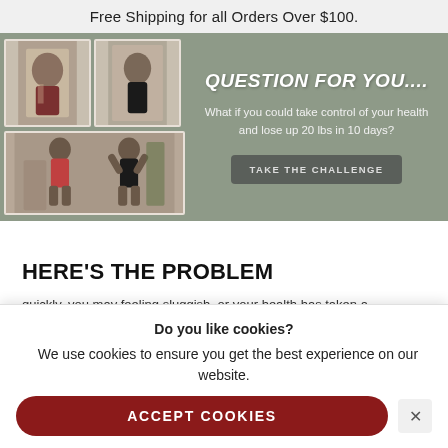Free Shipping for all Orders Over $100.
[Figure (photo): Hero banner with before/after fitness photos on the left (showing a person's body transformation) on a sage green background, with promotional text on the right.]
QUESTION FOR YOU....
What if you could take control of your health and lose up 20 lbs in 10 days?
TAKE THE CHALLENGE
HERE'S THE PROBLEM
Do you like cookies?   We use cookies to ensure you get the best experience on our website.
ACCEPT COOKIES
quickly, you may feeling sluggish, or your health has taken a turn for the worst and you want to take back health